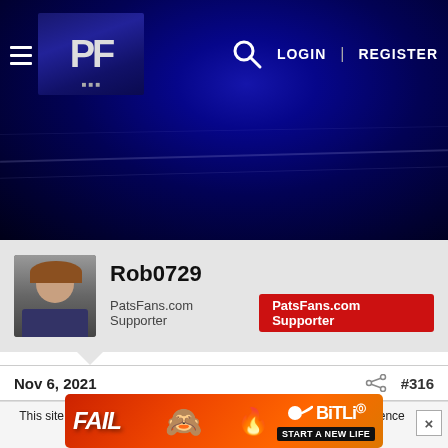[Figure (screenshot): Website navigation bar with hamburger menu, PF logo, search icon, LOGIN and REGISTER links on dark blue background]
[Figure (photo): Dark blue hero banner image resembling a night football field scene]
[Figure (screenshot): User profile card showing avatar photo, username Rob0729, PatsFans.com Supporter label and red badge]
Nov 6, 2021
#316
This site uses cookies to help personalise content, tailor your experience and to keep you logged in if you register.
By continuing to use this site, you are consenting to our use of cookies.
[Figure (photo): BitLife mobile game advertisement banner with FAIL text and START A NEW LIFE tagline]